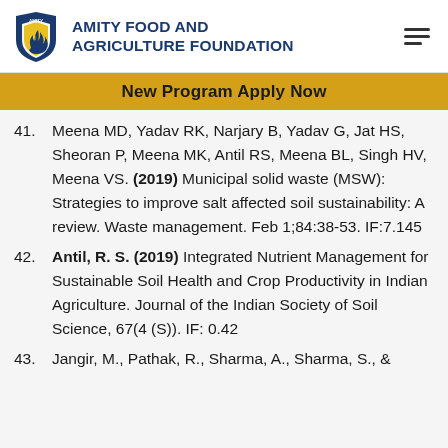AMITY FOOD AND AGRICULTURE FOUNDATION
New Program Apply Now
41. Meena MD, Yadav RK, Narjary B, Yadav G, Jat HS, Sheoran P, Meena MK, Antil RS, Meena BL, Singh HV, Meena VS. (2019) Municipal solid waste (MSW): Strategies to improve salt affected soil sustainability: A review. Waste management. Feb 1;84:38-53. IF:7.145
42. Antil, R. S. (2019) Integrated Nutrient Management for Sustainable Soil Health and Crop Productivity in Indian Agriculture. Journal of the Indian Society of Soil Science, 67(4 (S)). IF: 0.42
43. Jangir, M., Pathak, R., Sharma, A., Sharma, S., &